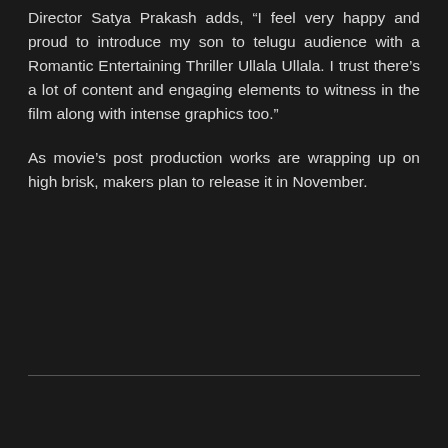Director Satya Prakash adds, “I feel very happy and proud to introduce my son to telugu audience with a Romantic Entertaining Thriller Ullala Ullala. I trust there’s a lot of content and engaging elements to witness in the film along with intense graphics too.”
As movie’s post production works are wrapping up on high brisk, makers plan to release it in November.